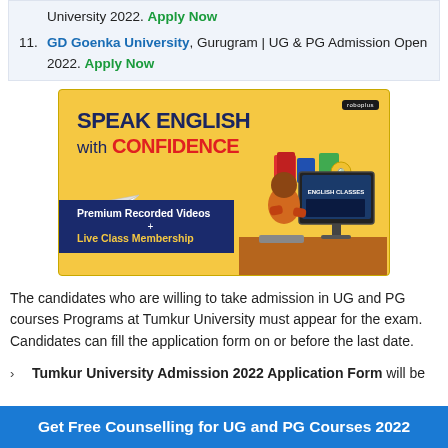University 2022. Apply Now
11. GD Goenka University, Gurugram | UG & PG Admission Open 2022. Apply Now
[Figure (illustration): Advertisement banner for Roboplus English learning: 'SPEAK ENGLISH with CONFIDENCE' with paper airplane graphic, person at computer, Premium Recorded Videos + Live Class Membership text on dark blue background, yellow background overall.]
The candidates who are willing to take admission in UG and PG courses Programs at Tumkur University must appear for the exam. Candidates can fill the application form on or before the last date.
Tumkur University Admission 2022 Application Form will be
Get Free Counselling for UG and PG Courses 2022